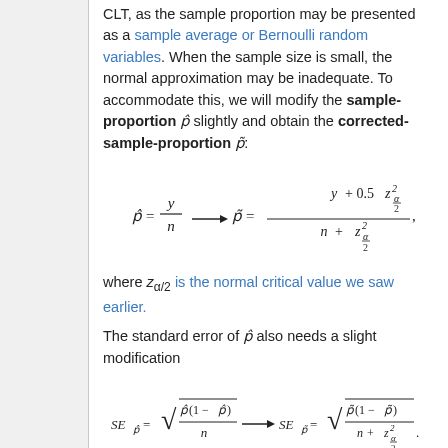CLT, as the sample proportion may be presented as a sample average or Bernoulli random variables. When the sample size is small, the normal approximation may be inadequate. To accommodate this, we will modify the sample-proportion p̂ slightly and obtain the corrected-sample-proportion p̃:
where z_{α/2} is the normal critical value we saw earlier.
The standard error of p̃ also needs a slight modification